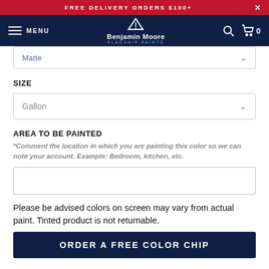FREE DELIVERY ORDERS $100+
[Figure (screenshot): Benjamin Moore Flagship Paints navigation bar with hamburger menu, logo, search icon, and cart icon showing 0 items]
Matte
SIZE
Gallon
AREA TO BE PAINTED
*Comment the location in which you are painting this color so we can note your account. Example: Bedroom, kitchen, etc.
Please be advised colors on screen may vary from actual paint. Tinted product is not returnable.
ORDER A FREE COLOR CHIP